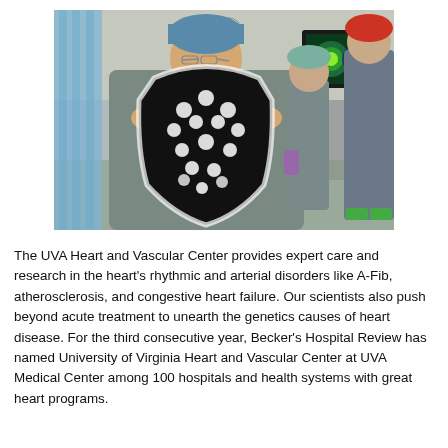[Figure (photo): A smiling doctor in blue scrubs and surgical cap holds up a black-and-white floral-patterned cardiac device (likely a heart valve or mesh). In the background, two other medical staff members stand near a monitor displaying colorful cardiac imagery, in what appears to be a cardiac procedure room.]
The UVA Heart and Vascular Center provides expert care and research in the heart's rhythmic and arterial disorders like A-Fib, atherosclerosis, and congestive heart failure. Our scientists also push beyond acute treatment to unearth the genetics causes of heart disease. For the third consecutive year, Becker's Hospital Review has named University of Virginia Heart and Vascular Center at UVA Medical Center among 100 hospitals and health systems with great heart programs.